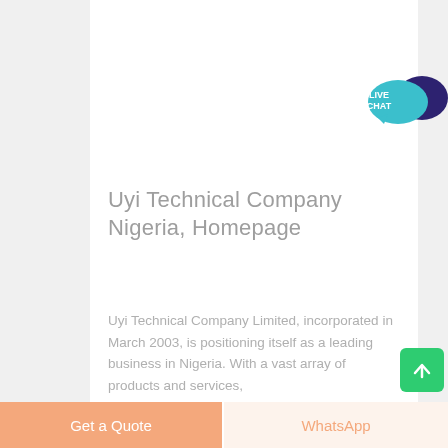[Figure (photo): Industrial facility with conveyor belts, cranes, and steel framework structures in a misty/foggy setting]
Uyi Technical Company Nigeria, Homepage
Uyi Technical Company Limited, incorporated in March 2003, is positioning itself as a leading business in Nigeria. With a vast array of products and services,
[Figure (infographic): Live Chat speech bubble icon with teal and dark blue colors showing LIVE CHAT text]
Get a Quote
WhatsApp